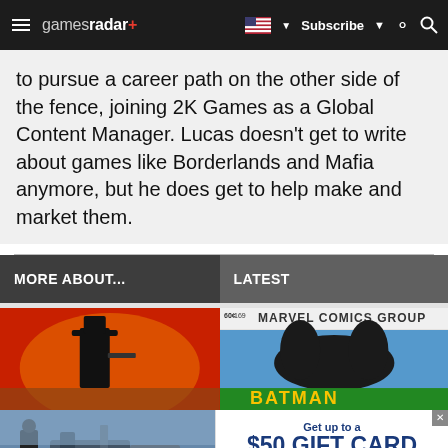gamesradar+  Subscribe
to pursue a career path on the other side of the fence, joining 2K Games as a Global Content Manager. Lucas doesn't get to write about games like Borderlands and Mafia anymore, but he does get to help make and market them.
MORE ABOUT...
LATEST
[Figure (screenshot): Red Dead Redemption 2 style artwork with a character in a hat on a red background]
[Figure (screenshot): Marvel Comics Group Batman comic book cover]
[Figure (photo): Advertisement banner showing a person with machinery on the left side]
Get up to a $50 GIFT CARD Join with code: GIFTCARD Membership terms and conditions apply